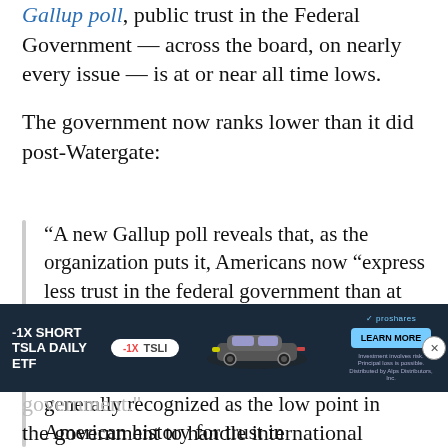Gallup poll, public trust in the Federal Government — across the board, on nearly every issue — is at or near all time lows.
The government now ranks lower than it did post-Watergate:
“A new Gallup poll reveals that, as the organization puts it, Americans now “express less trust in the federal government than at any point in the past decade, and trust in many federal government institutions is now lower than it was during the Watergate era, generally recognized as the low point in American history for trust in government.”
[Figure (other): Advertisement banner: -1X SHORT TSLA DAILY ETF with TSLI badge, car image, and ProShares Learn More button]
the government to handle international